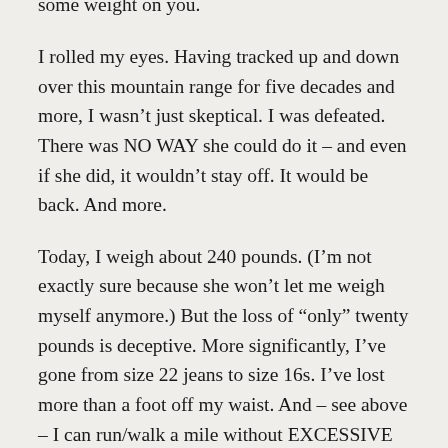some weight on you.
I rolled my eyes. Having tracked up and down over this mountain range for five decades and more, I wasn’t just skeptical. I was defeated. There was NO WAY she could do it – and even if she did, it wouldn’t stay off. It would be back. And more.
Today, I weigh about 240 pounds. (I’m not exactly sure because she won’t let me weigh myself anymore.) But the loss of “only” twenty pounds is deceptive. More significantly, I’ve gone from size 22 jeans to size 16s. I’ve lost more than a foot off my waist. And – see above – I can run/walk a mile without EXCESSIVE complaint.
There’s a terribly nice lady who works out at Body